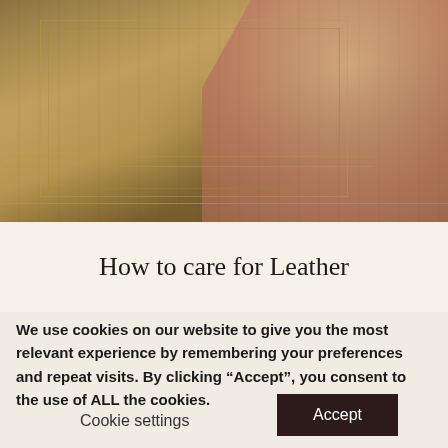[Figure (photo): Close-up photo of a tan/brown leather item with decorative Greek key border pattern, being held by a person's hand. The leather surface shows tooled/embossed rectangular border designs.]
How to care for Leather
We use cookies on our website to give you the most relevant experience by remembering your preferences and repeat visits. By clicking “Accept”, you consent to the use of ALL the cookies.
Cookie settings
Accept